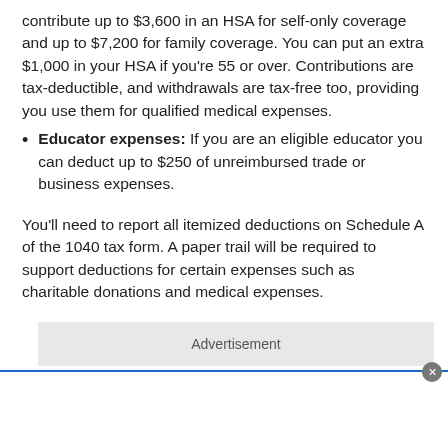contribute up to $3,600 in an HSA for self-only coverage and up to $7,200 for family coverage. You can put an extra $1,000 in your HSA if you're 55 or over. Contributions are tax-deductible, and withdrawals are tax-free too, providing you use them for qualified medical expenses.
Educator expenses: If you are an eligible educator you can deduct up to $250 of unreimbursed trade or business expenses.
You'll need to report all itemized deductions on Schedule A of the 1040 tax form. A paper trail will be required to support deductions for certain expenses such as charitable donations and medical expenses.
Advertisement